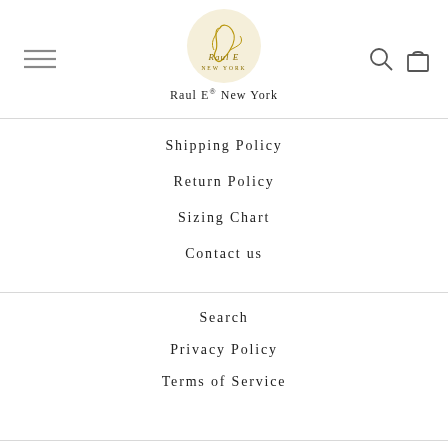[Figure (logo): Raul E New York circular logo with horse illustration in gold/cream circle]
Raul E® New York
Shipping Policy
Return Policy
Sizing Chart
Contact us
Search
Privacy Policy
Terms of Service